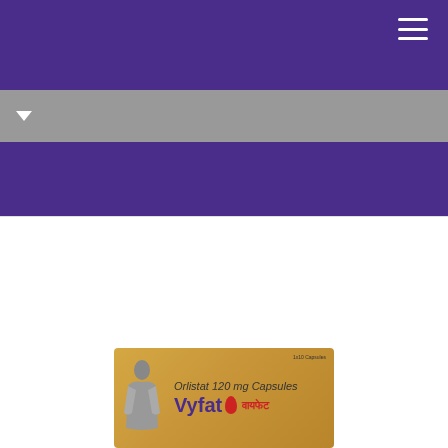[Figure (photo): Product packaging for Vyfat (Orlistat 120 mg Capsules) shown at bottom of page — a gold/tan colored medicine box with the brand name Vyfat in purple, a red drop icon, and Hindi text वायफेट. The box also shows a silhouette of a person. The page has a purple navigation header at the top with a hamburger menu icon, a gray sub-bar with a dropdown arrow, and another purple band below.]